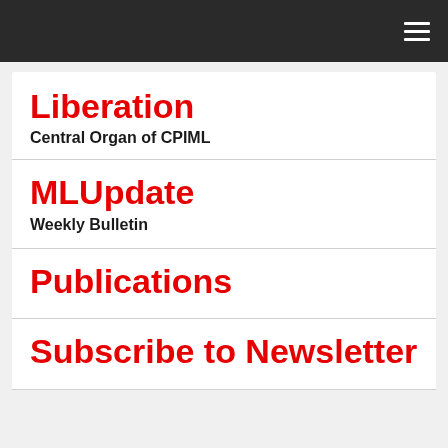Liberation
Central Organ of CPIML
MLUpdate
Weekly Bulletin
Publications
Subscribe to Newsletter